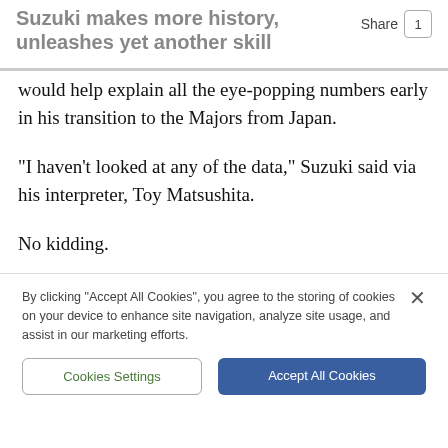Suzuki makes more history, unleashes yet another skill
would help explain all the eye-popping numbers early in his transition to the Majors from Japan.
"I haven't looked at any of the data," Suzuki said via his interpreter, Toy Matsushita.
No kidding.
By clicking "Accept All Cookies", you agree to the storing of cookies on your device to enhance site navigation, analyze site usage, and assist in our marketing efforts.